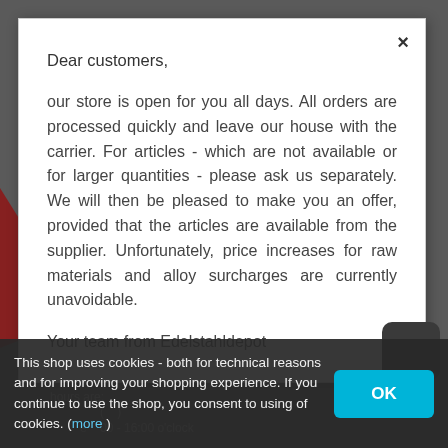×
Dear customers,
our store is open for you all days. All orders are processed quickly and leave our house with the carrier. For articles - which are not available or for larger quantities - please ask us separately. We will then be pleased to make you an offer, provided that the articles are available from the supplier. Unfortunately, price increases for raw materials and alloy surcharges are currently unavoidable.
Your team from Edelstahldepot
CUSTOMER SERVICE
hours are: ( ) e  00 - 16:00 o'clock
This shop uses cookies - both for technical reasons and for improving your shopping experience. If you continue to use the shop, you consent to using of cookies. (more )